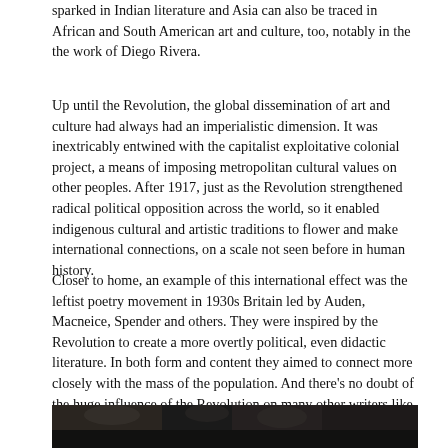sparked in Indian literature and Asia can also be traced in African and South American art and culture, too, notably in the the work of Diego Rivera.
Up until the Revolution, the global dissemination of art and culture had always had an imperialistic dimension. It was inextricably entwined with the capitalist exploitative colonial project, a means of imposing metropolitan cultural values on other peoples. After 1917, just as the Revolution strengthened radical political opposition across the world, so it enabled indigenous cultural and artistic traditions to flower and make international connections, on a scale not seen before in human history.
Closer to home, an example of this international effect was the leftist poetry movement in 1930s Britain led by Auden, Macneice, Spender and others. They were inspired by the Revolution to create a more overtly political, even didactic literature. In both form and content they aimed to connect more closely with the mass of the population. And there’s no doubt of the huge influence of the Revolution on many other writers like George Bernard Shaw, H.G. Wells and Virginia Woolf.
[Figure (photo): Black and white photograph strip showing portrait(s), partially visible at the bottom of the page.]